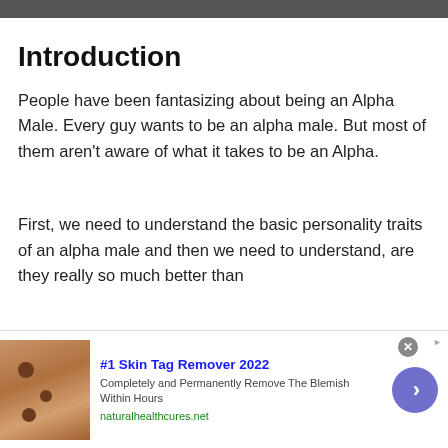[Figure (photo): Dark horizontal image strip at top of page (partial photo, cropped)]
Introduction
People have been fantasizing about being an Alpha Male. Every guy wants to be an alpha male. But most of them aren't aware of what it takes to be an Alpha.
First, we need to understand the basic personality traits of an alpha male and then we need to understand, are they really so much better than
[Figure (other): Advertisement banner: #1 Skin Tag Remover 2022. Completely and Permanently Remove The Blemish Within Hours. naturalhealthcures.net. Contains image of skin tags, a close button, and a blue arrow button.]